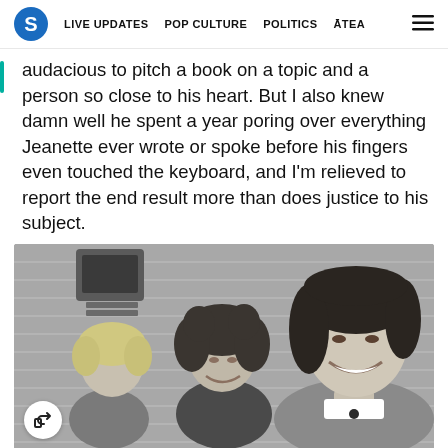S | LIVE UPDATES | POP CULTURE | POLITICS | ĀTEA | ☰
audacious to pitch a book on a topic and a person so close to his heart. But I also knew damn well he spent a year poring over everything Jeanette ever wrote or spoke before his fingers even touched the keyboard, and I'm relieved to report the end result more than does justice to his subject.
[Figure (photo): Black and white photograph of three people — a young blonde child on the left, a curly-haired woman in the middle smiling, and a young woman with dark hair tied back on the right, smiling at the camera. They appear to be standing against a wooden siding wall with an intercom or speaker mounted on it.]